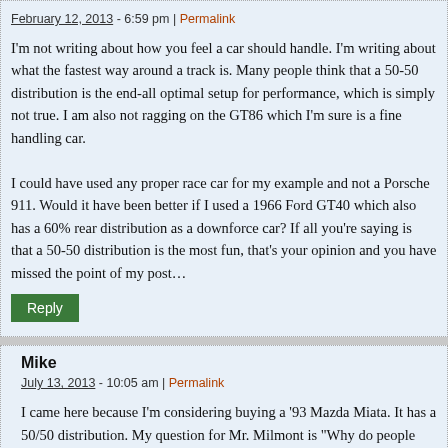February 12, 2013 - 6:59 pm | Permalink
I'm not writing about how you feel a car should handle. I'm writing about what the fastest way around a track is. Many people think that a 50-50 distribution is the end-all optimal setup for performance, which is simply not true. I am also not ragging on the GT86 which I'm sure is a fine handling car.

I could have used any proper race car for my example and not a Porsche 911. Would it have been better if I used a 1966 Ford GT40 which also has a 60% rear distribution as a downforce car? If all you're saying is that a 50-50 distribution is the most fun, that's your opinion and you have missed the point of my post…
Reply
Mike
July 13, 2013 - 10:05 am | Permalink
I came here because I'm considering buying a '93 Mazda Miata. It has a 50/50 distribution. My question for Mr. Milmont is "Why do people swear by these cars handling" and many claim that they handle better than Porsches and Vettes?" I'm not trying to be a smart ass, I just want a legitimate answer because I'm also considering purchasing a first generation Toyota MR2 with mod engine, obviously more weight in the r